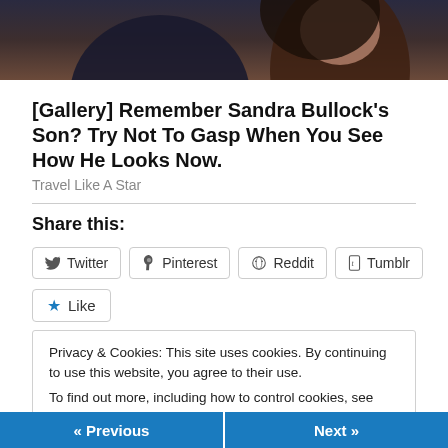[Figure (photo): Cropped photo showing two people, partially visible from shoulders up, dark background]
[Gallery] Remember Sandra Bullock's Son? Try Not To Gasp When You See How He Looks Now.
Travel Like A Star
Share this:
Twitter  Pinterest  Reddit  Tumblr
Like
Privacy & Cookies: This site uses cookies. By continuing to use this website, you agree to their use.
To find out more, including how to control cookies, see here: Cookie Policy
Close and accept
« Previous   Next »